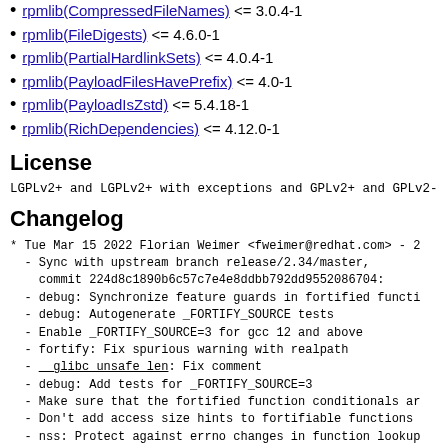rpmlib(CompressedFileNames) <= 3.0.4-1
rpmlib(FileDigests) <= 4.6.0-1
rpmlib(PartialHardlinkSets) <= 4.0.4-1
rpmlib(PayloadFilesHavePrefix) <= 4.0-1
rpmlib(PayloadIsZstd) <= 5.4.18-1
rpmlib(RichDependencies) <= 4.12.0-1
License
LGPLv2+ and LGPLv2+ with exceptions and GPLv2+ and GPLv2-
Changelog
* Tue Mar 15 2022 Florian Weimer <fweimer@redhat.com> - 2
  - Sync with upstream branch release/2.34/master,
    commit 224d8c1890b6c57c7e4e8ddbb792dd9552086704:
  - debug: Synchronize feature guards in fortified functi
  - debug: Autogenerate _FORTIFY_SOURCE tests
  - Enable _FORTIFY_SOURCE=3 for gcc 12 and above
  - fortify: Fix spurious warning with realpath
  - __glibc_unsafe_len: Fix comment
  - debug: Add tests for _FORTIFY_SOURCE=3
  - Make sure that the fortified function conditionals ar
  - Don't add access size hints to fortifiable functions
  - nss: Protect against errno changes in function lookup
  - nss: Do not mention NSS test modules in <gnu/lib-name
  - io: Add fsync call in tst_stat